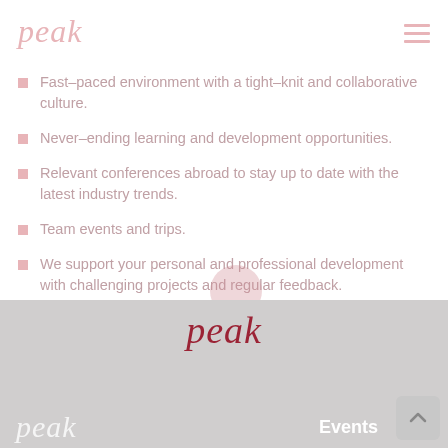peak
Fast–paced environment with a tight–knit and collaborative culture.
Never–ending learning and development opportunities.
Relevant conferences abroad to stay up to date with the latest industry trends.
Team events and trips.
We support your personal and professional development with challenging projects and regular feedback.
Full health benefits.
peak  Events